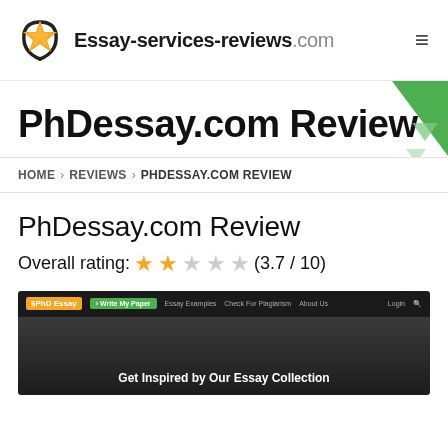Essay-services-reviews.com
PhDessay.com Review
HOME > REVIEWS > PHDESSAY.COM REVIEW
PhDessay.com Review
Overall rating: ★★☆☆☆ (3.7 / 10)
[Figure (screenshot): Screenshot of PhDessay.com website showing navigation bar with 'PhD Essay' logo, 'Write My Paper' button, and headline 'Get Inspired by Our Essay Collection']